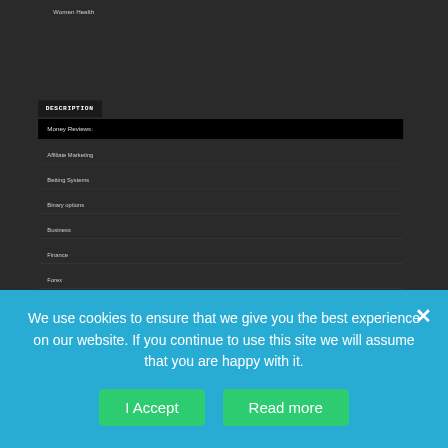Women Health
DESCRIPTION
Money Reviews:
Affiliate Marketing
Betting Systems
Binary options
Business
Finance
Forex
We use cookies to ensure that we give you the best experience on our website. If you continue to use this site we will assume that you are happy with it.
I Accept
Read more